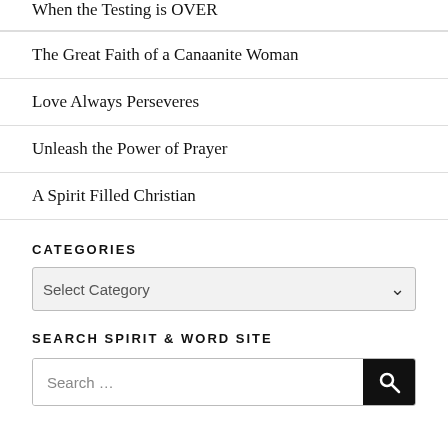When the Testing is OVER
The Great Faith of a Canaanite Woman
Love Always Perseveres
Unleash the Power of Prayer
A Spirit Filled Christian
CATEGORIES
Select Category
SEARCH SPIRIT & WORD SITE
Search …